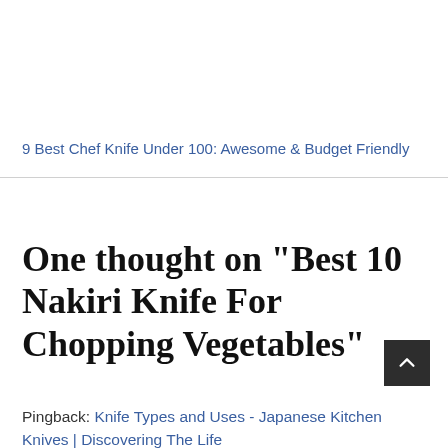9 Best Chef Knife Under 100: Awesome & Budget Friendly
One thought on “Best 10 Nakiri Knife For Chopping Vegetables”
Pingback: Knife Types and Uses - Japanese Kitchen Knives | Discovering The Life